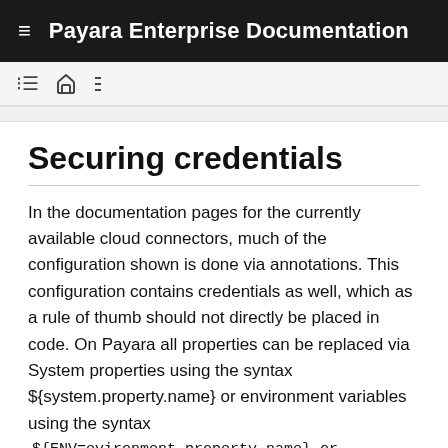Payara Enterprise Documentation
Securing credentials
In the documentation pages for the currently available cloud connectors, much of the configuration shown is done via annotations. This configuration contains credentials as well, which as a rule of thumb should not directly be placed in code. On Payara all properties can be replaced via System properties using the syntax ${system.property.name} or environment variables using the syntax
${ENV=evironment.property.name} or